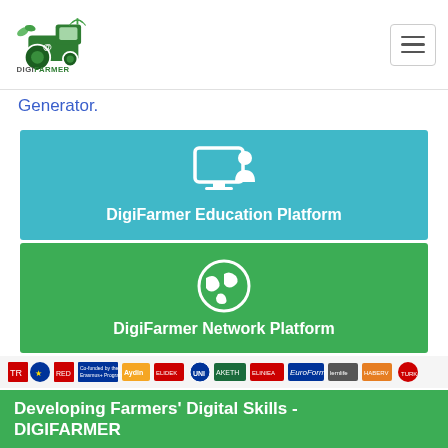[Figure (logo): DigiFarmer logo with tractor and digital elements]
Generator.
[Figure (illustration): DigiFarmer Education Platform button with presenter/screen icon, teal background]
[Figure (illustration): DigiFarmer Network Platform button with globe icon, green background]
[Figure (illustration): Partner organization logos bar]
Developing Farmers' Digital Skills - DIGIFARMER
Project n. 2018-1-TR01-KA204-059557
Erasmus+ KA2: Strategic Partnerships for Adult Education
"Funded by the Erasmus+ Program of the European Union. However, European Commission and Turkish National Agency cannot